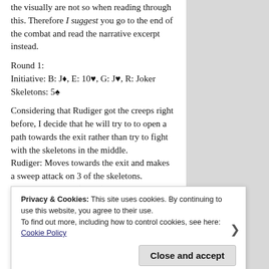the visually are not so when reading through this. Therefore I suggest you go to the end of the combat and read the narrative excerpt instead.
Round 1:
Initiative: B: J♦, E: 10♥, G: J♥, R: Joker
Skeletons: 5♠
Considering that Rudiger got the creeps right before, I decide that he will try to to open a path towards the exit rather than try to fight with the skeletons in the middle.
Rudiger: Moves towards the exit and makes a sweep attack on 3 of the skeletons.
Rudiger: Fighting (d12-2): 12/5: Hit with a Raise: 20/7: Destroyed, 23/7: Destroyed, 6/7:
Privacy & Cookies: This site uses cookies. By continuing to use this website, you agree to their use.
To find out more, including how to control cookies, see here:
Cookie Policy
Close and accept